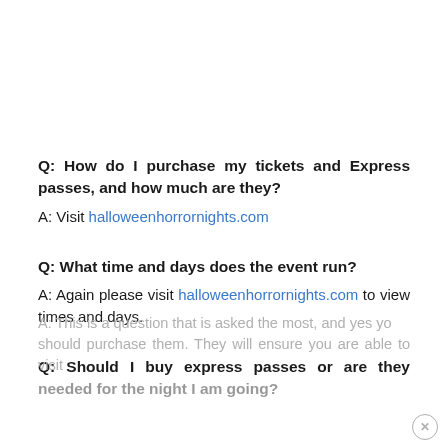Q: How do I purchase my tickets and Express passes, and how much are they?
A: Visit halloweenhorrornights.com
Q: What time and days does the event run?
A: Again please visit halloweenhorrornights.com to view times and days.
Q: Should I buy express passes or are they needed for the night I am going?
A: This is a question that is asked the most, and yes you should purchase them. They will ensure you are able to visit